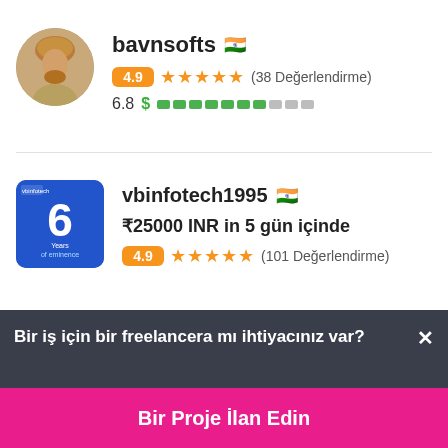bavnsofts 🇮🇳
4.9 ★★★★★ (38 Değerlendirme)
6.8 $ ████████░░░
[Figure (photo): Profile photo of bavnsofts, a man wearing a turban]
vbinfotech1995 🇮🇳
₹25000 INR in 5 gün içinde
4.9 ★★★★★ (101 Değerlendirme)
[Figure (logo): vbinfotech logo: blue rectangle with '6 Years of eminence']
Bir iş için bir freelancera mı ihtiyacınız var? ×
Bir Proje İlan Edin